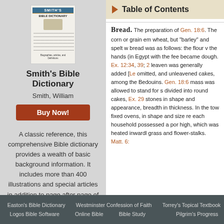[Figure (illustration): Book cover of Smith's Bible Dictionary]
Smith's Bible Dictionary
Smith, William
Buy Now!
A classic reference, this comprehensive Bible dictionary provides a wealth of basic background information. It includes more than 400 illustrations and special articles in addition to page after page of basic information.
Table of Contents
BREAD. The preparation of Gen. 18:6. The corn or grain em wheat, but “barley” and spelt w bread was as follows: the flour v the hands (in Egypt with the fee became dough. Ex. 12:34, 39; 2 leaven was generally added [Le omitted, and unleavened cakes, among the Bedouins. Gen. 18:6 mass was allowed to stand for s divided into round cakes, Ex. 29 stones in shape and appearance, breadth in thickness. In the tow fixed ovens, in shape and size re each household possessed a por high, which was heated inwardl grass and flower-stalks. Matt. 6:
Easton's Bible Dictionary   Westminster Confession of Faith   Torrey's Topical Textbook   Logos Bible Software   Online Bible   Bible Study   Pilgrim's Progress